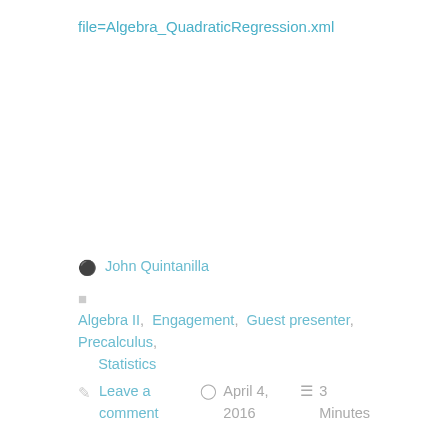file=Algebra_QuadraticRegression.xml
John Quintanilla
Algebra II, Engagement, Guest presenter, Precalculus, Statistics
Leave a comment   April 4, 2016   3 Minutes
High-pointing a football?
Today is one of the high points of the American sports calendar: the AFC and NFC championship games to determine who plays in the Super Bowl